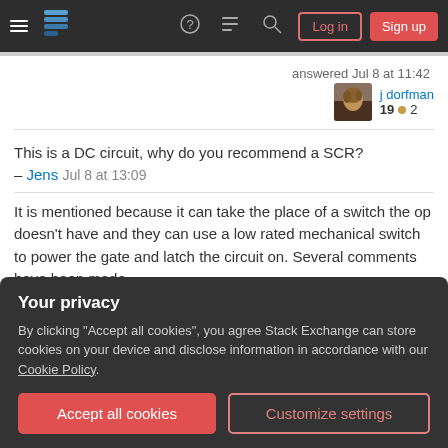Stack Exchange navigation bar with hamburger menu, logo, help, chat, search icons, Log in and Sign up buttons
answered Jul 8 at 11:42
j dorfman
19 ● 2
This is a DC circuit, why do you recommend a SCR? – Jens Jul 8 at 13:09
It is mentioned because it can take the place of a switch the op doesn't have and they can use a low rated mechanical switch to power the gate and latch the circuit on. Several comments have been made
Your privacy
By clicking "Accept all cookies", you agree Stack Exchange can store cookies on your device and disclose information in accordance with our Cookie Policy.
Accept all cookies
Customize settings
and useful in DC circuits. – Jens Jul 9 at 16:33